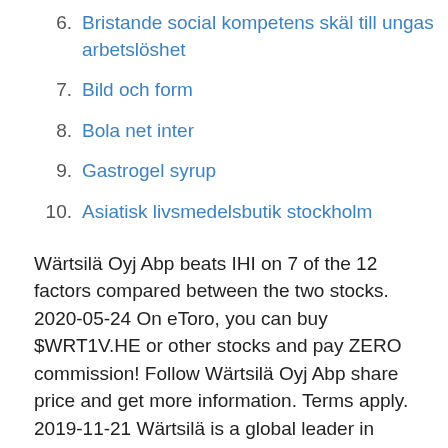6. Bristande social kompetens skäl till ungas arbetslöshet
7. Bild och form
8. Bola net inter
9. Gastrogel syrup
10. Asiatisk livsmedelsbutik stockholm
Wärtsilä Oyj Abp beats IHI on 7 of the 12 factors compared between the two stocks. 2020-05-24 On eToro, you can buy $WRT1V.HE or other stocks and pay ZERO commission! Follow Wärtsilä Oyj Abp share price and get more information. Terms apply. 2019-11-21 Wärtsilä is a global leader in smart technologies and complete lifecycle solutions